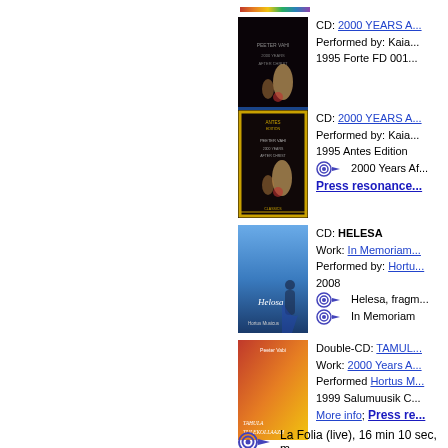[Figure (photo): Rainbow/spectrum colored strip at top]
[Figure (photo): Album cover: 2000 Years After - dark background with hand image, Peeter Vahi, Forte edition]
CD: 2000 YEARS A... Performed by: Kaia... 1995 Forte FD 001...
[Figure (photo): Album cover: 2000 Years After - dark background with hand image in gold frame, Antes Edition]
CD: 2000 YEARS A... Performed by: Kaia... 1995 Antes Edition. 2000 Years Af... Press resonance...
[Figure (photo): Album cover: Helesa - blue misty background with figure, Hortus Musicus]
CD: HELESA Work: In Memoriam... Performed by: Hortu... 2008. Helesa, fragm... In Memoriam
[Figure (photo): Album cover: Tahula Tulekollaazh - red/orange/yellow abstract, Peeter Vabi]
Double-CD: TAMUL... Work: 2000 Years A... Performed Hortus M... 1999 Salumuusik C... More info; Press re...
La Folia (live), 16 min 10 sec, m...